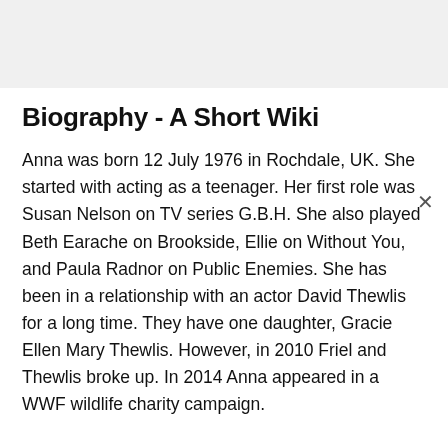Biography - A Short Wiki
Anna was born 12 July 1976 in Rochdale, UK. She started with acting as a teenager. Her first role was Susan Nelson on TV series G.B.H. She also played Beth Earache on Brookside, Ellie on Without You, and Paula Radnor on Public Enemies. She has been in a relationship with an actor David Thewlis for a long time. They have one daughter, Gracie Ellen Mary Thewlis. However, in 2010 Friel and Thewlis broke up. In 2014 Anna appeared in a WWF wildlife charity campaign.
Body Measurements